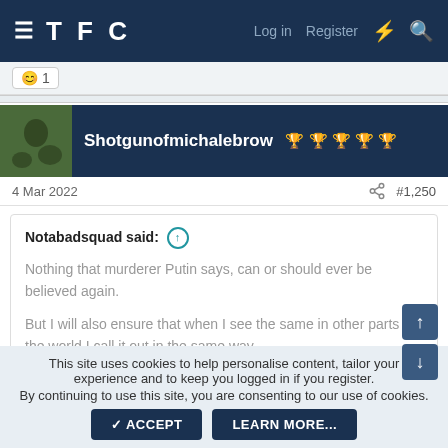TFC  Log in  Register
[Figure (screenshot): Reaction emoji with count 1]
Shotgunofmichalebrow 🏆🏆🏆🏆🏆
4 Mar 2022  #1,250
Notabadsquad said: ↑

Nothing that murderer Putin says, can or should ever be believed again.

But I will also ensure that when I see the same in other parts of the world I call it out in the same way.
This site uses cookies to help personalise content, tailor your experience and to keep you logged in if you register.
By continuing to use this site, you are consenting to our use of cookies.
✓ ACCEPT   LEARN MORE...